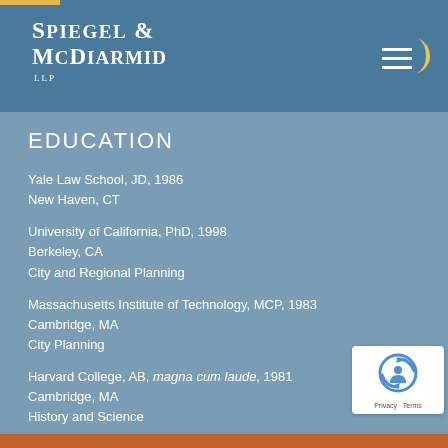Spiegel & McDiarmid LLP
EDUCATION
Yale Law School, JD, 1986
New Haven, CT
University of California, PhD, 1998
Berkeley, CA
City and Regional Planning
Massachusetts Institute of Technology, MCP, 1983
Cambridge, MA
City Planning
Harvard College, AB, magna cum laude, 1981
Cambridge, MA
History and Science